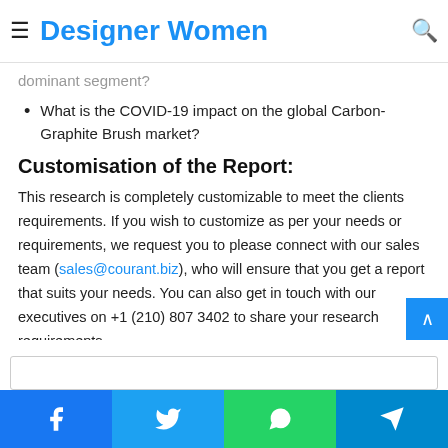Designer Women
dominant segment?
What is the COVID-19 impact on the global Carbon-Graphite Brush market?
Customisation of the Report:
This research is completely customizable to meet the clients requirements. If you wish to customize as per your needs or requirements, we request you to please connect with our sales team (sales@courant.biz), who will ensure that you get a report that suits your needs. You can also get in touch with our executives on +1 (210) 807 3402 to share your research requirements.
Facebook Twitter WhatsApp Telegram